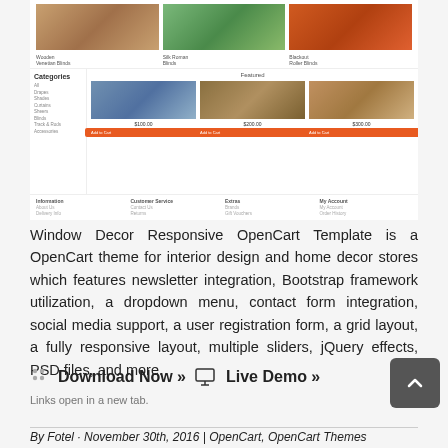[Figure (screenshot): Screenshot of Window Decor Responsive OpenCart Template website showing product thumbnails for wooden venetian blinds, silk roman blinds, and blackout roller blinds at top, followed by a categories sidebar and featured products section with curtains and interior images, and a site footer with Information, Customer Service, Extras, and My Account columns.]
Window Decor Responsive OpenCart Template is a OpenCart theme for interior design and home decor stores which features newsletter integration, Bootstrap framework utilization, a dropdown menu, contact form integration, social media support, a user registration form, a grid layout, a fully responsive layout, multiple sliders, jQuery effects, PSD files, and more.
Download Now »  Live Demo »
Links open in a new tab.